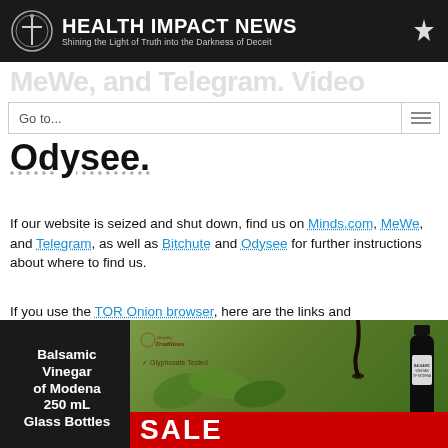HEALTH IMPACT NEWS — Shining the Light of Truth into the Darkness of Deceit
MeWe, and Telegram. Video Odysee.
Go to...
If our website is seized and shut down, find us on Minds.com, MeWe, and Telegram, as well as Bitchute and Odysee for further instructions about where to find us.
If you use the TOR Onion browser, here are the links and corresponding URLs to use in the TOR browser to find us on the Dark Web: Health Impact News, Vaccine Impact, Medical Kidnap, Created4Health, CoconutOil.com.
[Figure (photo): Advertisement banner for Balsamic Vinegar of Modena 250 mL Glass Bottles featuring Healthy Traditions Glyphosate Tested logo, food photography with balsamic drizzle, green leaves, and a dark bottle. SALE text visible.]